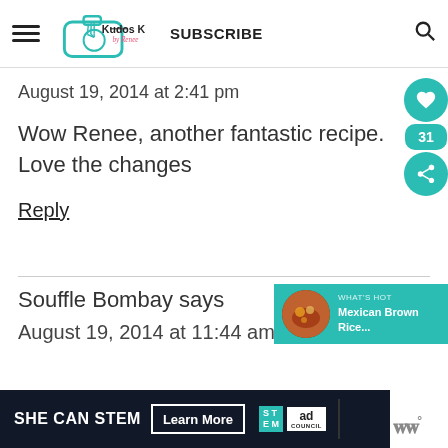Kudos Kitchen by Renee — SUBSCRIBE
August 19, 2014 at 2:41 pm
Wow Renee, another fantastic recipe. Love the changes
Reply
Souffle Bombay says
August 19, 2014 at 11:44 am
[Figure (infographic): Floating social sharing widget with heart icon, count 31, and share icon in teal circles]
[Figure (infographic): What's Hot widget showing Mexican Brown Rice with teal background]
[Figure (infographic): SHE CAN STEM ad banner with Learn More button, STEM logo, Ad Council logo]